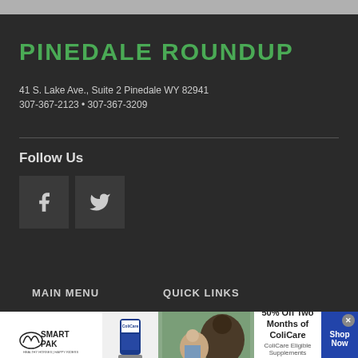PINEDALE ROUNDUP
41 S. Lake Ave., Suite 2 Pinedale WY 82941
307-367-2123 • 307-367-3209
Follow Us
[Figure (other): Facebook and Twitter social media icon buttons on dark background]
MAIN MENU   QUICK LINKS
[Figure (other): SmartPak advertisement banner: 50% Off Two Months of ColiCare, ColiCare Eligible Supplements, CODE: COLICARE10, Shop Now button]